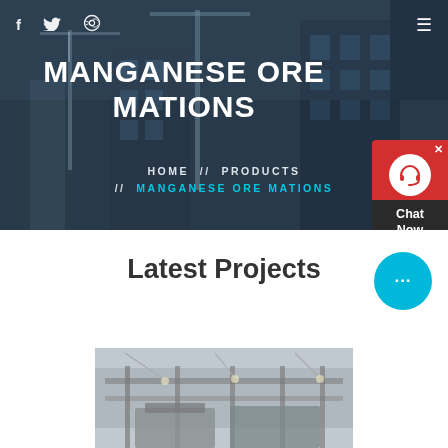[Figure (photo): Hero banner with dark overlay showing city construction cranes and buildings in background]
Social icons (f, twitter, dribbble) and hamburger menu
MANGANESE ORE MATIONS
HOME // PRODUCTS // MANGANESE ORE MATIONS
[Figure (other): Red chat support widget with headset icon and Chat Now label]
Latest Projects
[Figure (other): Blue chat bubble icon with ellipsis]
[Figure (photo): Industrial construction/mining project image at bottom of page]